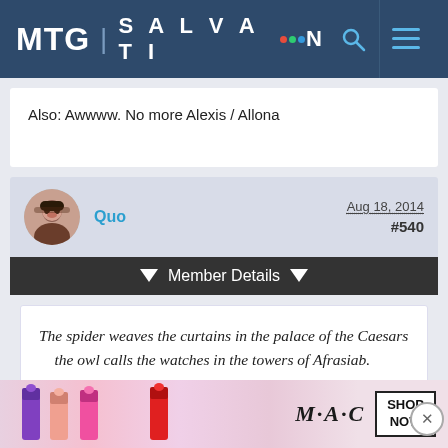MTG | SALVATION
Also: Awwww. No more Alexis / Allona
Quo  Aug 18, 2014  #540
Member Details
The spider weaves the curtains in the palace of the Caesars
    the owl calls the watches in the towers of Afrasiab.